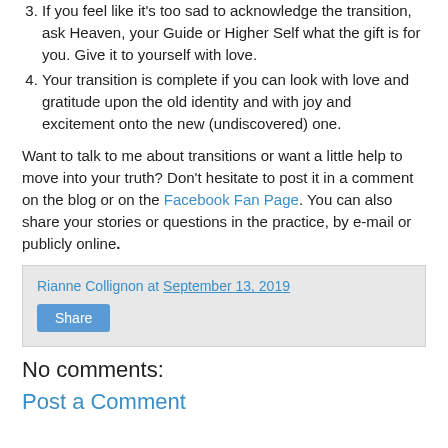3. If you feel like it's too sad to acknowledge the transition, ask Heaven, your Guide or Higher Self what the gift is for you. Give it to yourself with love.
4. Your transition is complete if you can look with love and gratitude upon the old identity and with joy and excitement onto the new (undiscovered) one.
Want to talk to me about transitions or want a little help to move into your truth? Don't hesitate to post it in a comment on the blog or on the Facebook Fan Page. You can also share your stories or questions in the practice, by e-mail or publicly online.
Rianne Collignon at September 13, 2019
Share
No comments:
Post a Comment